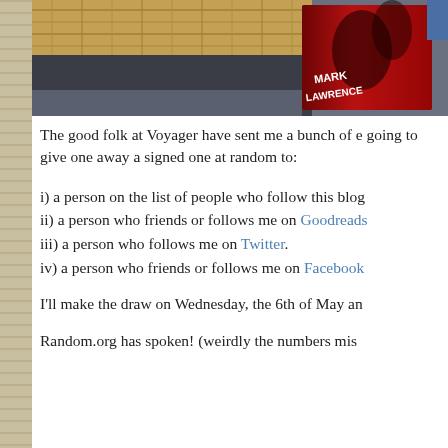[Figure (photo): A book by Mark Lawrence placed on a dark surface with a wicker basket in the background. The book cover is red with dark text showing 'MARK LAWRENCE'.]
The good folk at Voyager have sent me a bunch of e going to give one away a signed one at random to:
i) a person on the list of people who follow this blog
ii) a person who friends or follows me on Goodreads
iii) a person who follows me on Twitter.
iv) a person who friends or follows me on Facebook
I'll make the draw on Wednesday, the 6th of May an
Random.org has spoken! (weirdly the numbers mis